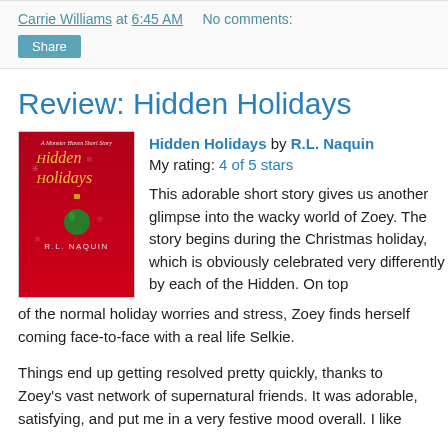Carrie Williams at 6:45 AM   No comments:
Share
Review: Hidden Holidays
[Figure (illustration): Book cover for Hidden Holidays by R.L. Naquin — red background with stylized gold/yellow title text and a green Christmas ornament]
Hidden Holidays by R.L. Naquin
My rating: 4 of 5 stars
This adorable short story gives us another glimpse into the wacky world of Zoey. The story begins during the Christmas holiday, which is obviously celebrated very differently by each of the Hidden. On top of the normal holiday worries and stress, Zoey finds herself coming face-to-face with a real life Selkie.
Things end up getting resolved pretty quickly, thanks to Zoey's vast network of supernatural friends. It was adorable, satisfying, and put me in a very festive mood overall. I like